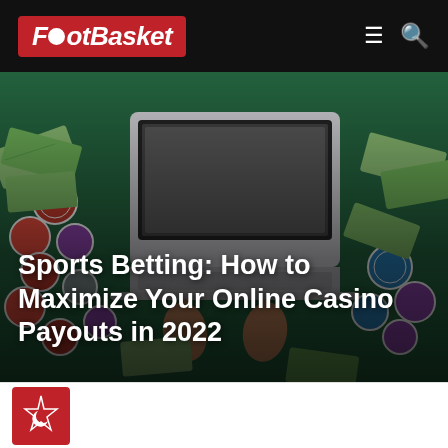FootBasket
[Figure (photo): Overhead view of a person typing on a laptop surrounded by casino chips and dollar bills on a green surface. Title overlay: 'Sports Betting: How to Maximize Your Online Casino Payouts in 2022']
Sports Betting: How to Maximize Your Online Casino Payouts in 2022
[Figure (logo): FootBasket author/publisher logo badge in red with white crescent and star icon]